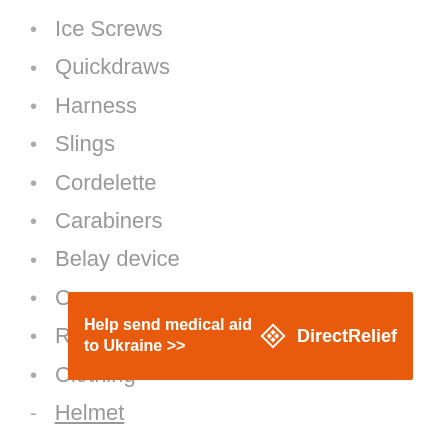Ice Screws
Quickdraws
Harness
Slings
Cordelette
Carabiners
Belay device
Crampons
Rope
Clothing
Helmet
[Figure (other): Direct Relief advertisement banner: orange background with white bold text 'Help send medical aid to Ukraine >>' and Direct Relief logo on the right]